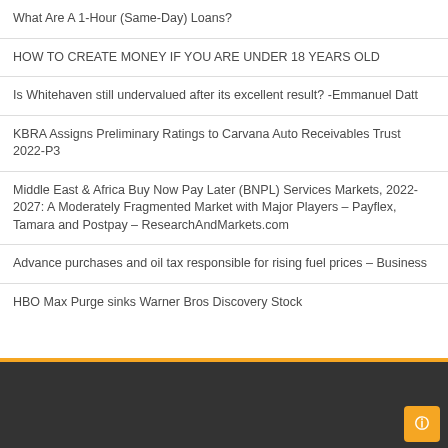What Are A 1-Hour (Same-Day) Loans?
HOW TO CREATE MONEY IF YOU ARE UNDER 18 YEARS OLD
Is Whitehaven still undervalued after its excellent result? -Emmanuel Datt
KBRA Assigns Preliminary Ratings to Carvana Auto Receivables Trust 2022-P3
Middle East & Africa Buy Now Pay Later (BNPL) Services Markets, 2022-2027: A Moderately Fragmented Market with Major Players – Payflex, Tamara and Postpay – ResearchAndMarkets.com
Advance purchases and oil tax responsible for rising fuel prices – Business
HBO Max Purge sinks Warner Bros Discovery Stock